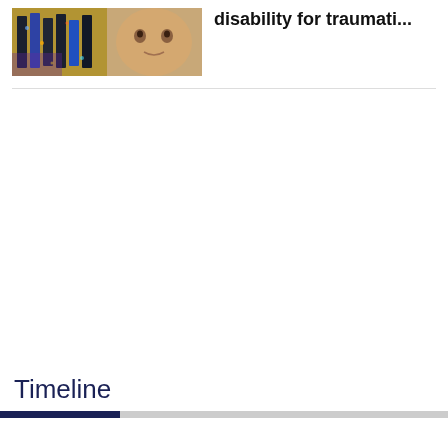[Figure (photo): Thumbnail image showing colorful objects (possibly LEGO bricks or similar toys) alongside a person's face/head]
disability for traumati...
Timeline